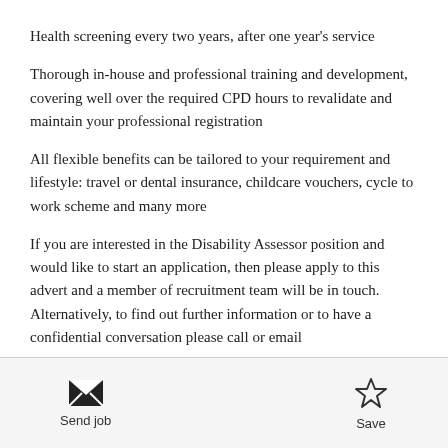Health screening every two years, after one year's service
Thorough in-house and professional training and development, covering well over the required CPD hours to revalidate and maintain your professional registration
All flexible benefits can be tailored to your requirement and lifestyle: travel or dental insurance, childcare vouchers, cycle to work scheme and many more
If you are interested in the Disability Assessor position and would like to start an application, then please apply to this advert and a member of recruitment team will be in touch. Alternatively, to find out further information or to have a confidential conversation please call or email
Send job   Save